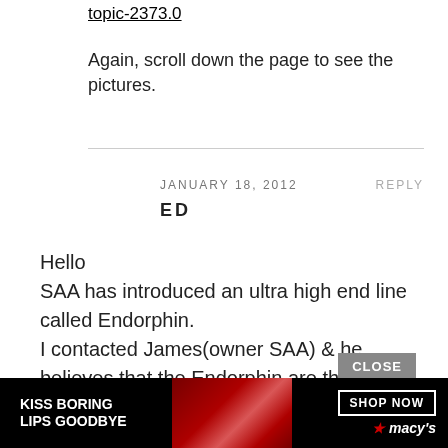topic-2373.0
Again, scroll down the page to see the pictures.
JANUARY 18, 2012
REPLY
ED
Hello
SAA has introduced an ultra high end line called Endorphin.
I contacted James(owner SAA) & he believes that the Endorphin are the best upgrade cables bar-none.
Does anyone have any experience with these cables for the HD650?
CLOSE
[Figure (illustration): Advertisement banner at the bottom: black background with a woman's face (red lips), text 'KISS BORING LIPS GOODBYE', 'SHOP NOW' button, and Macy's star logo.]